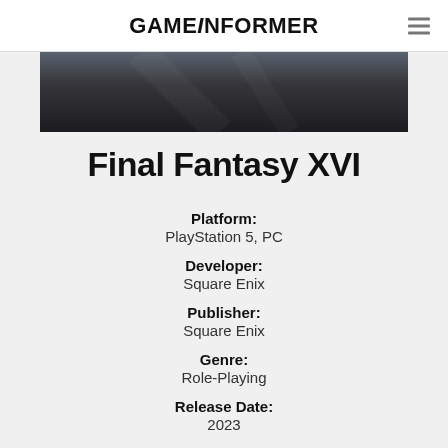GAMEiNFORMER
[Figure (photo): Dark moody game screenshot, cropped top portion showing a shadowy atmospheric scene]
Final Fantasy XVI
Platform: PlayStation 5, PC
Developer: Square Enix
Publisher: Square Enix
Genre: Role-Playing
Release Date: 2023